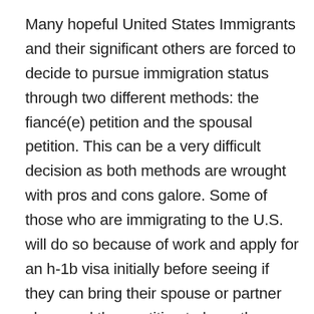Many hopeful United States Immigrants and their significant others are forced to decide to pursue immigration status through two different methods: the fiancé(e) petition and the spousal petition. This can be a very difficult decision as both methods are wrought with pros and cons galore. Some of those who are immigrating to the U.S. will do so because of work and apply for an h-1b visa initially before seeing if they can bring their spouse or partner along and then petition to have them gain immigration status.
You, like many other frustrated hopeful immigrants or their lovers, might be baffled at our current immigration system and unsure of which method is right for you. This article will discuss the various